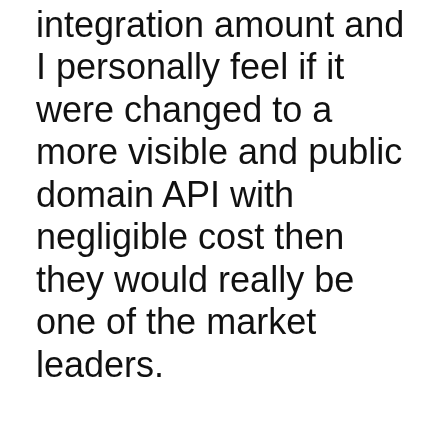integration amount and I personally feel if it were changed to a more visible and public domain API with negligible cost then they would really be one of the market leaders.
Overall Feedback
The things which strike the users of iCIMS